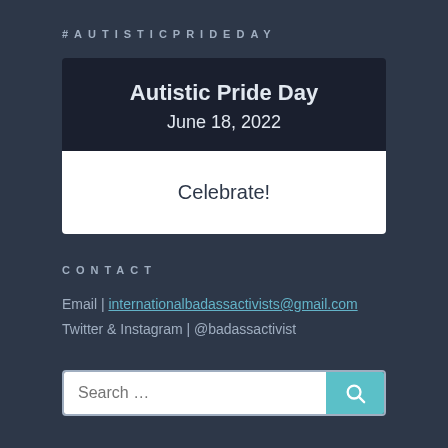#AUTISTICPRIDEDAY
Autistic Pride Day
June 18, 2022
Celebrate!
CONTACT
Email | internationalbadassactivists@gmail.com
Twitter & Instagram | @badassactivist